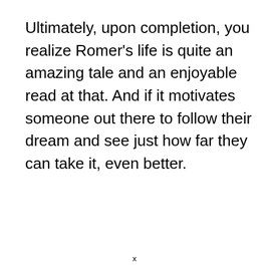Ultimately, upon completion, you realize Romer's life is quite an amazing tale and an enjoyable read at that. And if it motivates someone out there to follow their dream and see just how far they can take it, even better.
x